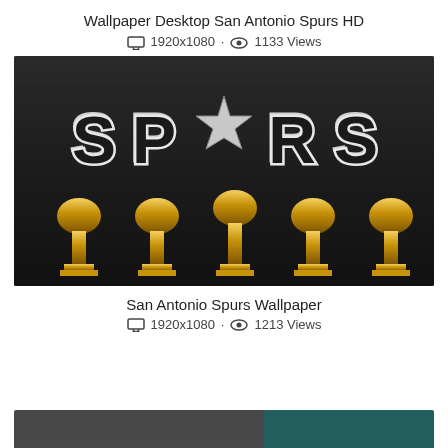Wallpaper Desktop San Antonio Spurs HD
1920x1080 · 1133 Views
[Figure (photo): San Antonio Spurs wallpaper showing the SPURS logo in black and silver with a star emblem, above five golden NBA championship trophies on a dark wooden background]
San Antonio Spurs Wallpaper
1920x1080 · 1213 Views
[Figure (photo): Partial view of another wallpaper at the bottom of the page, showing a dark grey and teal background]